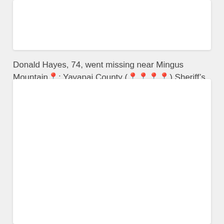[Figure (other): White card/box at top of page, partially visible, content not shown]
Donald Hayes, 74, went missing near Mingus Mountain📍: Yavapai County (📍📍📍📍) Sheriff’s Office
[Figure (other): White card/box below the title, large area, content not shown]